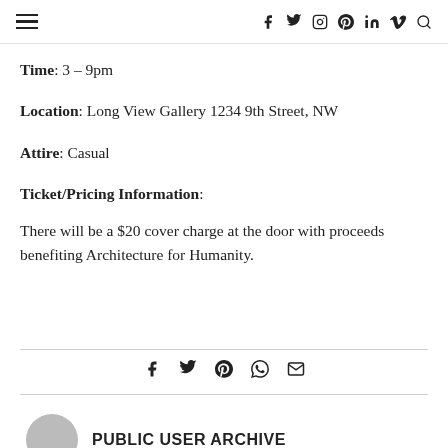☰  f  𝕥  ⊙  ⊗  in  𝕍  🔍
Time: 3 – 9pm
Location: Long View Gallery 1234 9th Street, NW
Attire: Casual
Ticket/Pricing Information:
There will be a $20 cover charge at the door with proceeds benefiting Architecture for Humanity.
[Figure (infographic): Social share icons row: facebook, twitter, pinterest, whatsapp, email]
PUBLIC USER ARCHIVE